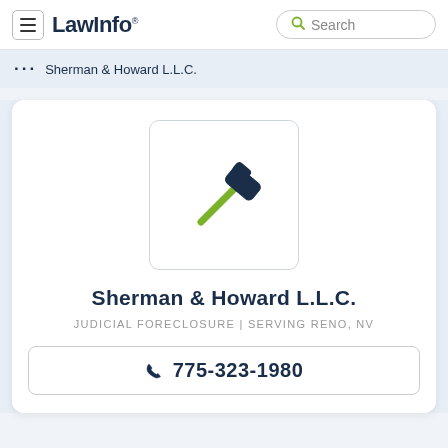LawInfo. Search
... Sherman & Howard L.L.C.
[Figure (logo): Gavel/hammer icon with dark blue head and olive/green handle, representing legal/law services]
Sherman & Howard L.L.C.
JUDICIAL FORECLOSURE | SERVING RENO, NV
775-323-1980